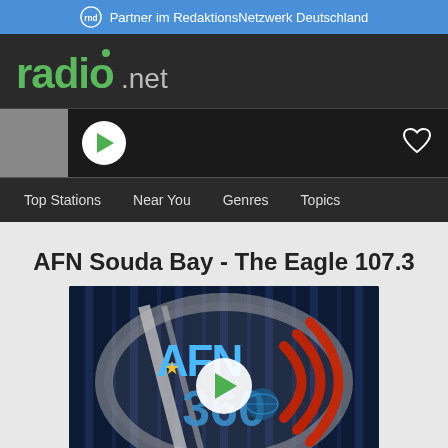Partner im RedaktionsNetzwerk Deutschland
[Figure (screenshot): radio.net logo with green 'radio' text and grey '.net' text, with navigation player bar showing Top Stations, Near You, Genres, Topics]
AFN Souda Bay - The Eagle 107.3
[Figure (logo): AFN 360 Internet Radio logo on dark blue striped background with play button overlay and 'INTERNET RADIO' text at bottom]